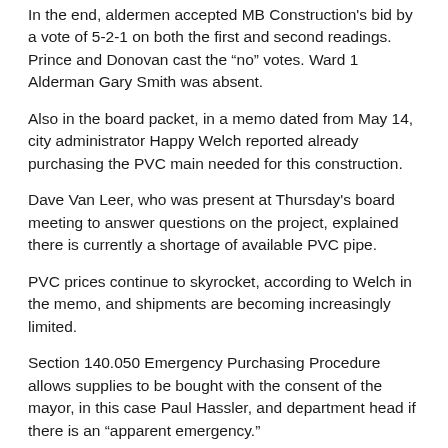In the end, aldermen accepted MB Construction's bid by a vote of 5-2-1 on both the first and second readings. Prince and Donovan cast the “no” votes. Ward 1 Alderman Gary Smith was absent.
Also in the board packet, in a memo dated from May 14, city administrator Happy Welch reported already purchasing the PVC main needed for this construction.
Dave Van Leer, who was present at Thursday's board meeting to answer questions on the project, explained there is currently a shortage of available PVC pipe.
PVC prices continue to skyrocket, according to Welch in the memo, and shipments are becoming increasingly limited.
Section 140.050 Emergency Purchasing Procedure allows supplies to be bought with the consent of the mayor, in this case Paul Hassler, and department head if there is an “apparent emergency.”
Wilson, Welch and Hassler agreed to purchase the PVC pipe, through Core and Main, during the middle of last month.
[Figure (other): Social media sharing icons: Facebook, Twitter, and a share icon]